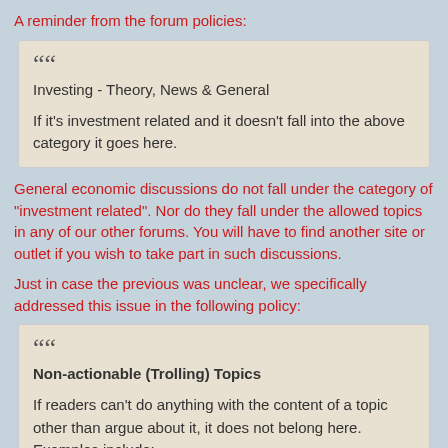A reminder from the forum policies:
Investing - Theory, News & General

If it's investment related and it doesn't fall into the above category it goes here.
General economic discussions do not fall under the category of "investment related". Nor do they fall under the allowed topics in any of our other forums. You will have to find another site or outlet if you wish to take part in such discussions.
Just in case the previous was unclear, we specifically addressed this issue in the following policy:
Non-actionable (Trolling) Topics

If readers can't do anything with the content of a topic other than argue about it, it does not belong here. Examples include:
US or world economic, political, tax, health care and climate policies
conspiracy theories of any type